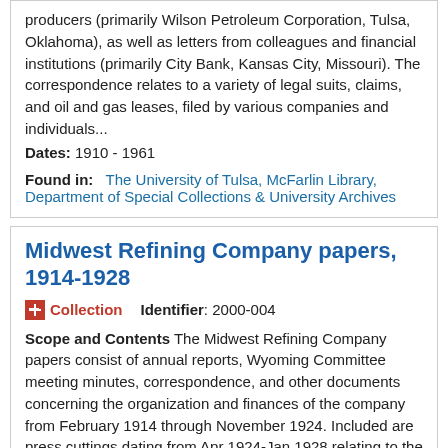producers (primarily Wilson Petroleum Corporation, Tulsa, Oklahoma), as well as letters from colleagues and financial institutions (primarily City Bank, Kansas City, Missouri). The correspondence relates to a variety of legal suits, claims, and oil and gas leases, filed by various companies and individuals...
Dates: 1910 - 1961
Found in: The University of Tulsa, McFarlin Library, Department of Special Collections & University Archives
Midwest Refining Company papers, 1914-1928
Collection   Identifier: 2000-004
Scope and Contents The Midwest Refining Company papers consist of annual reports, Wyoming Committee meeting minutes, correspondence, and other documents concerning the organization and finances of the company from February 1914 through November 1924. Included are press cuttings dating from Apr 1924-Jan 1928 relating to the Tea Pot Dome